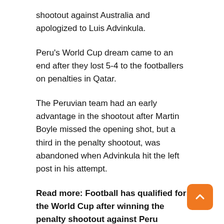shootout against Australia and apologized to Luis Advinkula.
Peru's World Cup dream came to an end after they lost 5-4 to the footballers on penalties in Qatar.
The Peruvian team had an early advantage in the shootout after Martin Boyle missed the opening shot, but a third in the penalty shootout, was abandoned when Advinkula hit the left post in his attempt.
Read more: Football has qualified for the World Cup after winning the penalty shootout against Peru
Read more: A raw account of Jelena Dokik's wo mental health